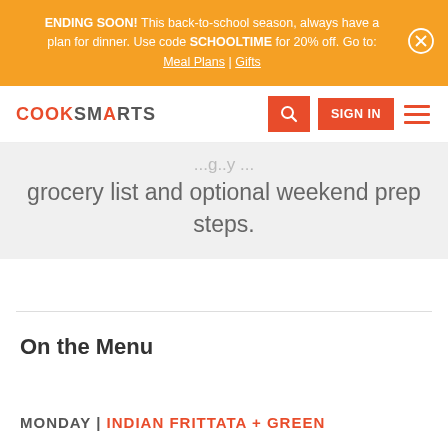ENDING SOON! This back-to-school season, always have a plan for dinner. Use code SCHOOLTIME for 20% off. Go to: Meal Plans | Gifts
[Figure (logo): CookSmarts logo with navigation bar including search button, sign in button, and hamburger menu]
grocery list and optional weekend prep steps.
On the Menu
MONDAY | INDIAN FRITTATA + GREEN